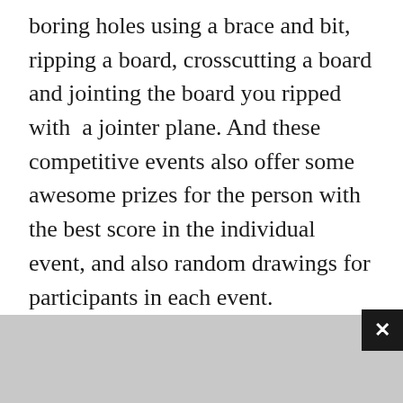boring holes using a brace and bit, ripping a board, crosscutting a board and jointing the board you ripped with a jointer plane. And these competitive events also offer some awesome prizes for the person with the best score in the individual event, and also random drawings for participants in each event.
Siemsen, who heads up the School of Woodworking, is joined by the Society of Period Furniture Makers as co-hosts of Olympics in